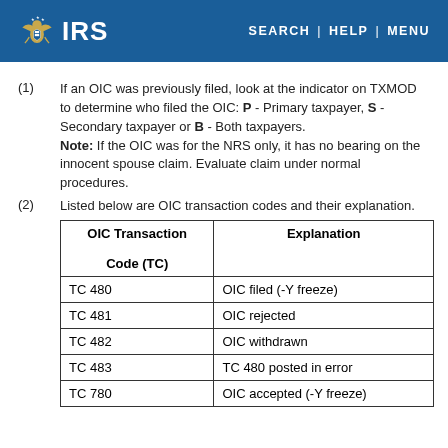IRS  SEARCH | HELP | MENU
(1) If an OIC was previously filed, look at the indicator on TXMOD to determine who filed the OIC: P - Primary taxpayer, S - Secondary taxpayer or B - Both taxpayers. Note: If the OIC was for the NRS only, it has no bearing on the innocent spouse claim. Evaluate claim under normal procedures.
(2) Listed below are OIC transaction codes and their explanation.
| OIC Transaction Code (TC) | Explanation |
| --- | --- |
| TC 480 | OIC filed (-Y freeze) |
| TC 481 | OIC rejected |
| TC 482 | OIC withdrawn |
| TC 483 | TC 480 posted in error |
| TC 780 | OIC accepted (-Y freeze) |